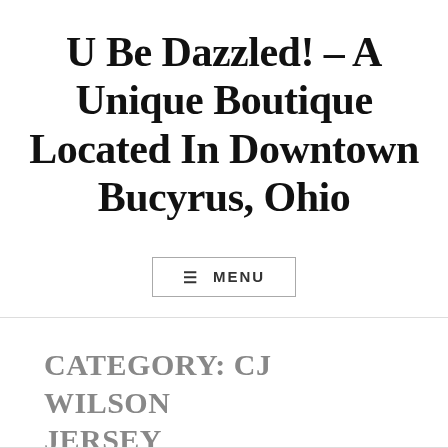U Be Dazzled! – A Unique Boutique Located In Downtown Bucyrus, Ohio
≡ MENU
CATEGORY: CJ WILSON JERSEY